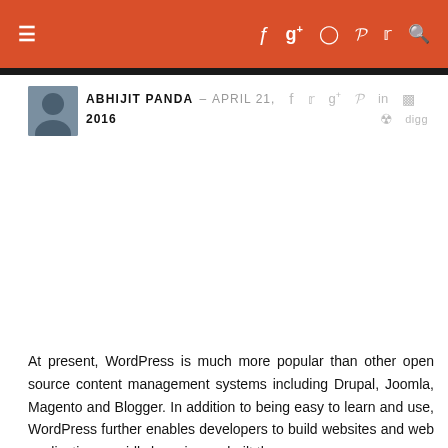≡   f  g+  ⊙  p  𝓣  🔍
[Figure (photo): Author avatar photo of Abhijit Panda]
ABHIJIT PANDA – APRIL 21, 2016
At present, WordPress is much more popular than other open source content management systems including Drupal, Joomla, Magento and Blogger. In addition to being easy to learn and use, WordPress further enables developers to build websites and web applications rapidly by using prebuilt themes...